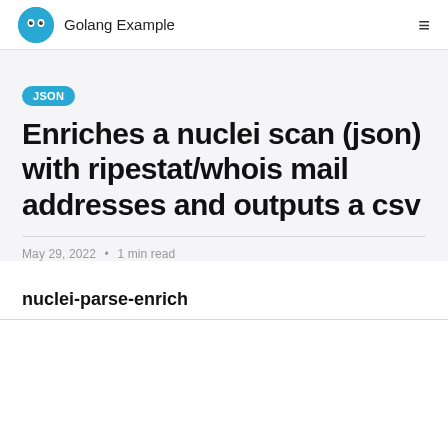Golang Example
JSON
Enriches a nuclei scan (json) with ripestat/whois mail addresses and outputs a csv
May 29, 2022 • 1 min read
nuclei-parse-enrich